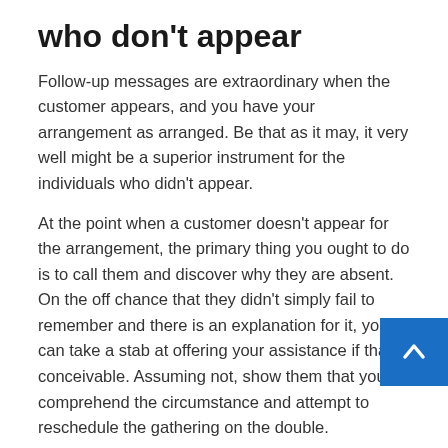who don't appear
Follow-up messages are extraordinary when the customer appears, and you have your arrangement as arranged. Be that as it may, it very well might be a superior instrument for the individuals who didn't appear.
At the point when a customer doesn't appear for the arrangement, the primary thing you ought to do is to call them and discover why they are absent. On the off chance that they didn't simply fail to remember and there is an explanation for it, you can take a stab at offering your assistance if that is conceivable. Assuming not, show them that you comprehend the circumstance and attempt to reschedule the gathering on the double.
On the off chance that you don't do it directly on the call, you may be experiencing some difficulty getting them